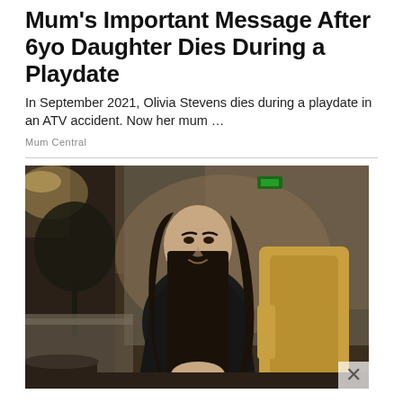Mum's Important Message After 6yo Daughter Dies During a Playdate
In September 2021, Olivia Stevens dies during a playdate in an ATV accident. Now her mum …
Mum Central
[Figure (photo): A woman with long dark hair wearing a black blazer over a white top, seated in a tan/gold leather chair, smiling slightly at the camera. The background shows a modern lounge interior with warm ambient lighting, plants, and concrete walls with a green exit sign.]